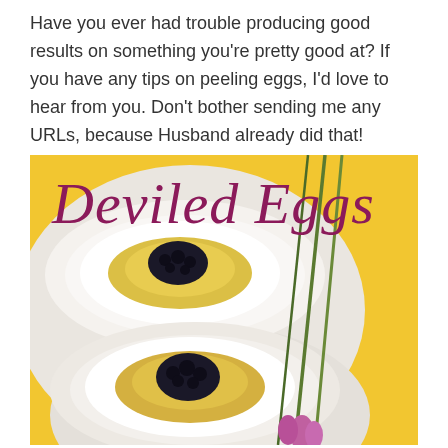Have you ever had trouble producing good results on something you're pretty good at? If you have any tips on peeling eggs, I'd love to hear from you. Don't bother sending me any URLs, because Husband already did that!
[Figure (photo): Book cover of 'Deviled Eggs' showing two deviled eggs topped with caviar on a white plate, with chive stems and a flower, against a yellow background.]